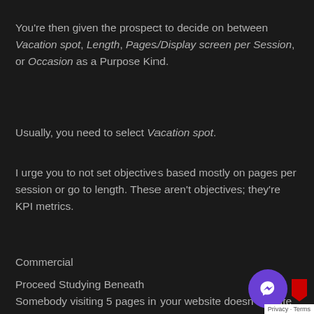You're then given the prospect to decide on between Vacation spot, Length, Pages/Display screen per Session, or Occasion as a Purpose Kind.
Usually, you need to select Vacation spot.
I urge you to not set objectives based mostly on pages per session or go to length. These aren't objectives; they're KPI metrics.
Commercial
Proceed Studying Beneath
Somebody visiting 5 pages in your website doesn't create gross sales or generate leads. It probably you however it's not the tip objective.